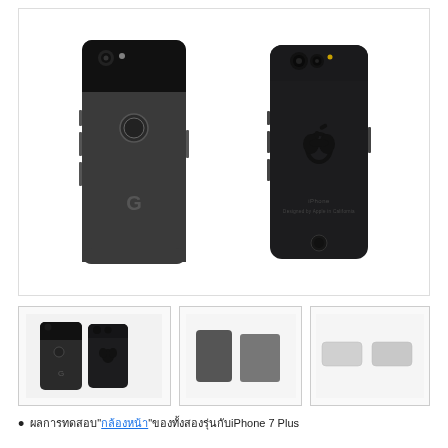[Figure (photo): Two smartphones shown from the back side by side: a Google Pixel 2 XL (dark gray/black with two-tone back, circular fingerprint sensor, single camera, and Google G logo) on the left, and an Apple iPhone 7 Plus (matte black with Apple logo and dual camera module) on the right.]
[Figure (photo): Three thumbnail images in a row: first thumbnail shows the two phones side by side (back view, smaller), second thumbnail shows two rectangular phone body shapes in dark gray, third thumbnail shows two white/silver flat rectangular shapes.]
ผลการทดสอบ"กล้องหน้า"ของทั้งสองรุ่นกับiPhone 7 Plus